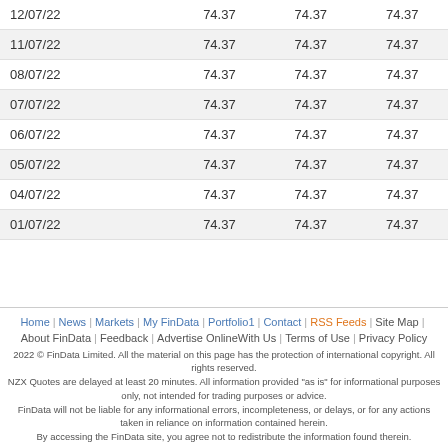| 12/07/22 | 74.37 | 74.37 | 74.37 |
| 11/07/22 | 74.37 | 74.37 | 74.37 |
| 08/07/22 | 74.37 | 74.37 | 74.37 |
| 07/07/22 | 74.37 | 74.37 | 74.37 |
| 06/07/22 | 74.37 | 74.37 | 74.37 |
| 05/07/22 | 74.37 | 74.37 | 74.37 |
| 04/07/22 | 74.37 | 74.37 | 74.37 |
| 01/07/22 | 74.37 | 74.37 | 74.37 |
Home | News | Markets | My FinData | Portfolio1 | Contact | RSS Feeds | Site Map | About FinData | Feedback | Advertise Online | With Us | Terms of Use | Privacy Policy
2022 © FinData Limited. All the material on this page has the protection of international copyright. All rights reserved.
NZX Quotes are delayed at least 20 minutes. All information provided "as is" for informational purposes only, not intended for trading purposes or advice.
FinData will not be liable for any informational errors, incompleteness, or delays, or for any actions taken in reliance on information contained herein.
By accessing the FinData site, you agree not to redistribute the information found therein.